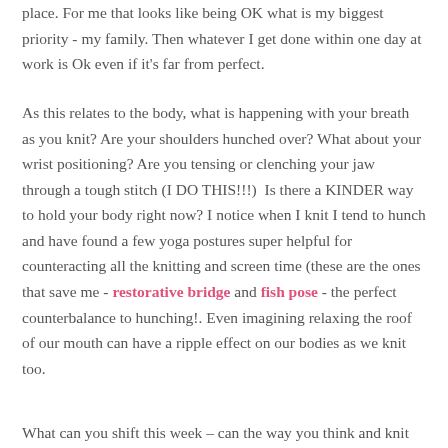place. For me that looks like being OK what is my biggest priority - my family. Then whatever I get done within one day at work is Ok even if it's far from perfect.
As this relates to the body, what is happening with your breath as you knit? Are your shoulders hunched over? What about your wrist positioning? Are you tensing or clenching your jaw through a tough stitch (I DO THIS!!!)  Is there a KINDER way to hold your body right now? I notice when I knit I tend to hunch and have found a few yoga postures super helpful for counteracting all the knitting and screen time (these are the ones that save me - restorative bridge and fish pose - the perfect counterbalance to hunching!. Even imagining relaxing the roof of our mouth can have a ripple effect on our bodies as we knit too.
What can you shift this week – can the way you think and knit